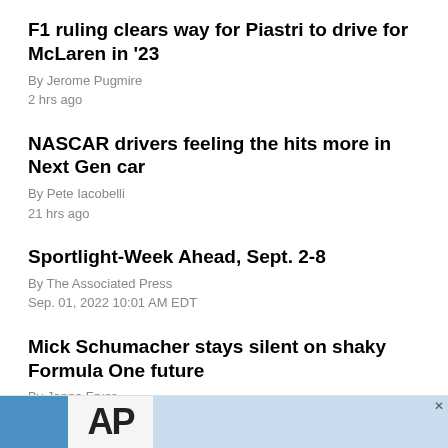F1 ruling clears way for Piastri to drive for McLaren in '23
By Jerome Pugmire
2 hrs ago
NASCAR drivers feeling the hits more in Next Gen car
By Pete Iacobelli
21 hrs ago
Sportlight-Week Ahead, Sept. 2-8
By The Associated Press
Sep. 01, 2022 10:01 AM EDT
Mick Schumacher stays silent on shaky Formula One future
By Jenna Fryer
Sep. 01, 2022 09:27 AM EDT
[Figure (other): Advertisement banner at bottom of page]